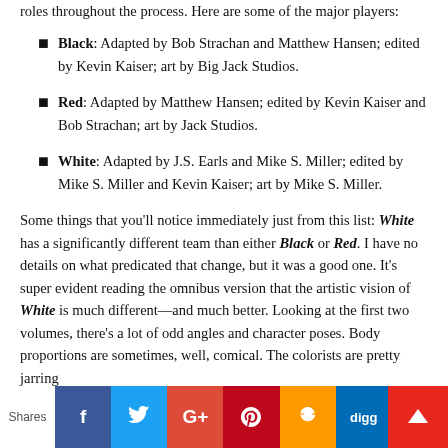roles throughout the process. Here are some of the major players:
Black: Adapted by Bob Strachan and Matthew Hansen; edited by Kevin Kaiser; art by Big Jack Studios.
Red: Adapted by Matthew Hansen; edited by Kevin Kaiser and Bob Strachan; art by Jack Studios.
White: Adapted by J.S. Earls and Mike S. Miller; edited by Mike S. Miller and Kevin Kaiser; art by Mike S. Miller.
Some things that you'll notice immediately just from this list: White has a significantly different team than either Black or Red. I have no details on what predicated that change, but it was a good one. It's super evident reading the omnibus version that the artistic vision of White is much different—and much better. Looking at the first two volumes, there's a lot of odd angles and character poses. Body proportions are sometimes, well, comical. The colorists are pretty jarring
Shares | f | t | G+ | p | a | digg | [crown]